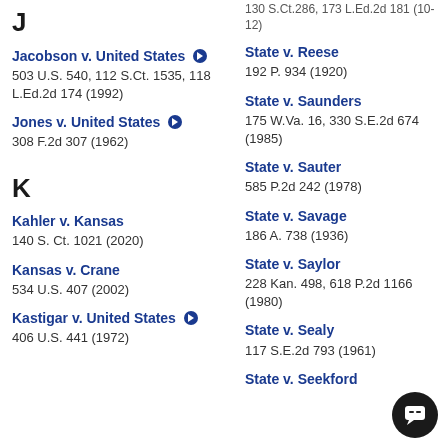130 S.Ct.286, 173 L.Ed.2d 181 (10-12)
J
Jacobson v. United States
503 U.S. 540, 112 S.Ct. 1535, 118 L.Ed.2d 174 (1992)
Jones v. United States
308 F.2d 307 (1962)
K
Kahler v. Kansas
140 S. Ct. 1021 (2020)
Kansas v. Crane
534 U.S. 407 (2002)
Kastigar v. United States
406 U.S. 441 (1972)
State v. Reese
192 P. 934 (1920)
State v. Saunders
175 W.Va. 16, 330 S.E.2d 674 (1985)
State v. Sauter
585 P.2d 242 (1978)
State v. Savage
186 A. 738 (1936)
State v. Saylor
228 Kan. 498, 618 P.2d 1166 (1980)
State v. Sealy
117 S.E.2d 793 (1961)
State v. Seekford